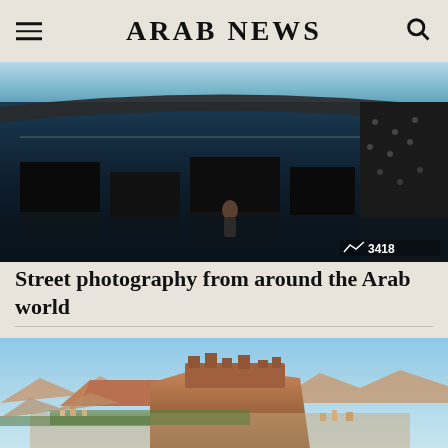ARAB NEWS
[Figure (photo): Interior architectural view of what appears to be Louvre Abu Dhabi museum with geometric black structures and reflective surfaces, a single figure visible in the background. View count: 3418]
Street photography from around the Arab world
[Figure (photo): Aerial/elevated landscape view of a rocky desert terrain with ancient fortress ruins on a plateau, city visible in the valley below, clear blue sky. Likely Al-Ula or similar Saudi Arabian heritage site.]